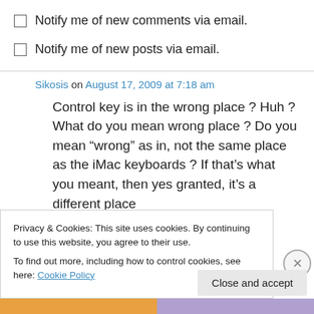Notify me of new comments via email.
Notify me of new posts via email.
Sikosis on August 17, 2009 at 7:18 am
Control key is in the wrong place ? Huh ? What do you mean wrong place ? Do you mean “wrong” as in, not the same place as the iMac keyboards ? If that’s what you meant, then yes granted, it’s a different place
Privacy & Cookies: This site uses cookies. By continuing to use this website, you agree to their use.
To find out more, including how to control cookies, see here: Cookie Policy